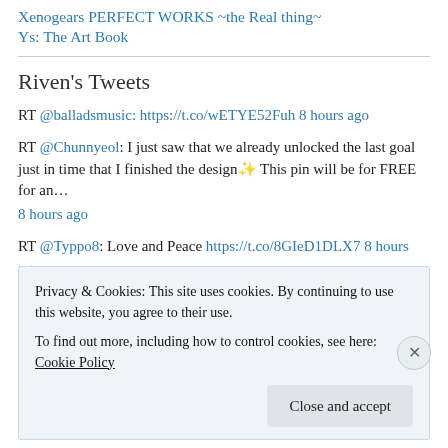Xenogears PERFECT WORKS ~the Real thing~
Ys: The Art Book
Riven's Tweets
RT @balladsmusic: https://t.co/wETYE52Fuh 8 hours ago
RT @Chunnyeol: I just saw that we already unlocked the last goal just in time that I finished the design✨ This pin will be for FREE for an... 8 hours ago
RT @Typpo8: Love and Peace https://t.co/8GIeD1DLX7 8 hours ago
RT @Ch... (partially visible)
Privacy & Cookies: This site uses cookies. By continuing to use this website, you agree to their use.
To find out more, including how to control cookies, see here: Cookie Policy